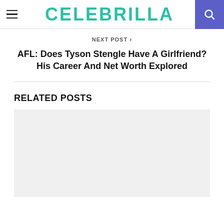CELEBRILLA
NEXT POST >
AFL: Does Tyson Stengle Have A Girlfriend? His Career And Net Worth Explored
RELATED POSTS
[Figure (photo): Gray placeholder image for a related post thumbnail]